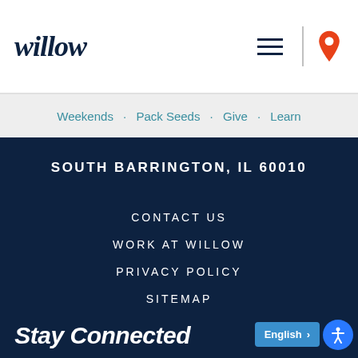willow
Weekends · Pack Seeds · Give · Learn
SOUTH BARRINGTON, IL 60010
CONTACT US
WORK AT WILLOW
PRIVACY POLICY
SITEMAP
Stay Connected